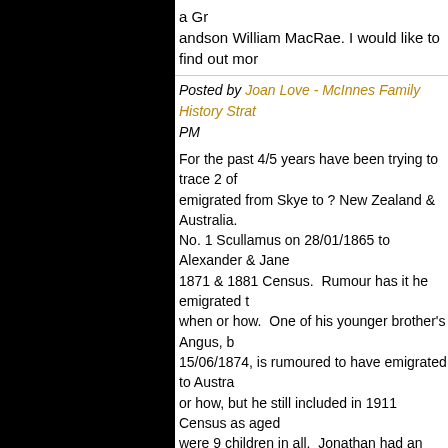a Gr
andson William MacRae. I would like to find out mor
Posted by Joan Love - McInnes Family History Strat... PM
For the past 4/5 years have been trying to trace 2 of emigrated from Skye to ? New Zealand & Australia. No. 1 Scullamus on 28/01/1865 to Alexander & Jane 1871 & 1881 Census. Rumour has it he emigrated t when or how. One of his younger brother's Angus, b 15/06/1874, is rumoured to have emigrated to Austra or how, but he still included in 1911 Census as aged were 9 children in all. Jonathan had an older sister M brothers; Alexander, John & James, + 3 younger sist James emigrated to New York sometime in the ?193 him as a child the very last time he was home in the
Would very much appreciate any information on Jon
Posted by Tanya Bradley (nee McInnes) on 30/12/20
I am researching my G.Grandfather Angus McInnes married my G. Grandmother Mary Jane Marjory Eva